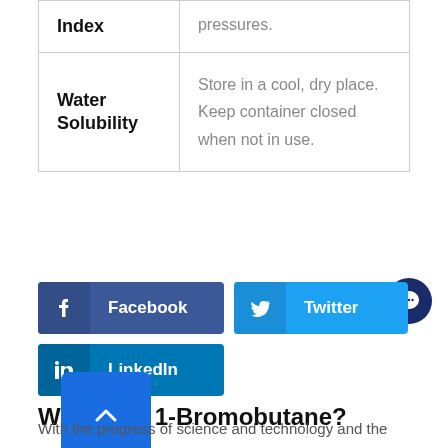| Property | Description |
| --- | --- |
| Index | pressures. |
| Water Solubility | Store in a cool, dry place. Keep container closed when not in use. |
[Figure (other): Social share buttons for Facebook, Twitter, and LinkedIn]
W[...] 1-Bromobutane?
With the progress of science and technology and the